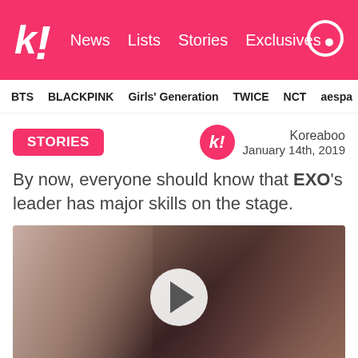k! News Lists Stories Exclusives
BTS BLACKPINK Girls' Generation TWICE NCT aespa
STORIES
Koreaboo
January 14th, 2019
By now, everyone should know that EXO's leader has major skills on the stage.
[Figure (photo): Video thumbnail showing a person in a dark setting with a play button overlay]